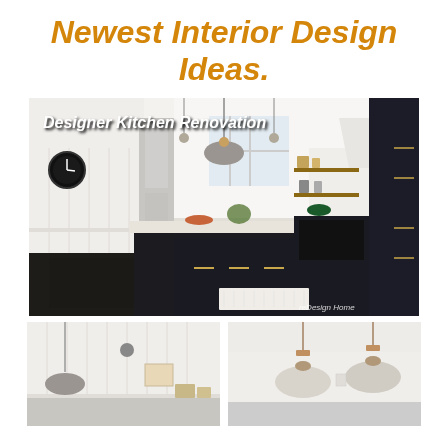Newest Interior Design Ideas.
[Figure (photo): Designer kitchen renovation with dark navy cabinets, large island with marble top, pendant lighting, open shelving, hardwood floors, labeled 'Designer Kitchen Renovation' with watermark 'reDesign Home']
[Figure (photo): Partial view of kitchen with white wainscoting wall panels and pendant lamp on left]
[Figure (photo): Partial view of kitchen showing pendant lamps hanging from ceiling on right]